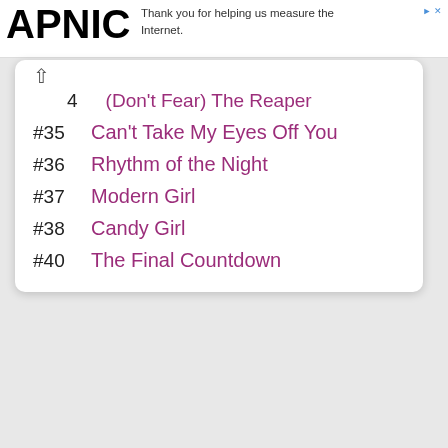APNIC — Thank you for helping us measure the Internet.
#4 (Don't Fear) The Reaper
#35 Can't Take My Eyes Off You
#36 Rhythm of the Night
#37 Modern Girl
#38 Candy Girl
#40 The Final Countdown